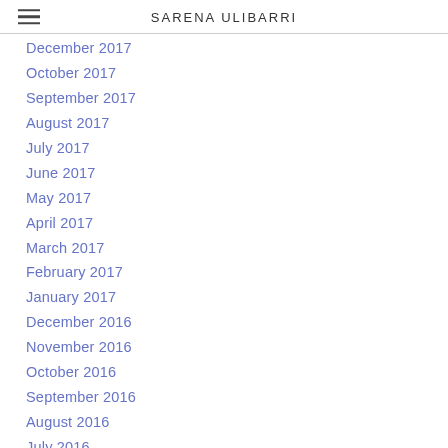SARENA ULIBARRI
December 2017
October 2017
September 2017
August 2017
July 2017
June 2017
May 2017
April 2017
March 2017
February 2017
January 2017
December 2016
November 2016
October 2016
September 2016
August 2016
July 2016